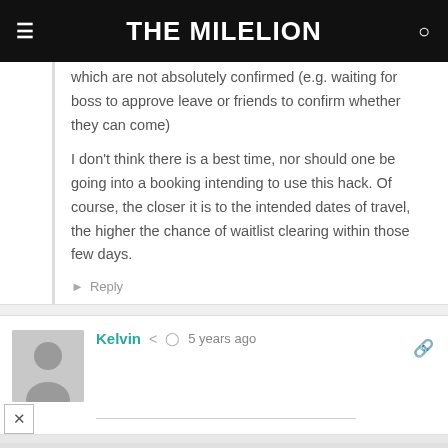THE MILELION
which are not absolutely confirmed (e.g. waiting for boss to approve leave or friends to confirm whether they can come)
I don't think there is a best time, nor should one be going into a booking intending to use this hack. Of course, the closer it is to the intended dates of travel, the higher the chance of waitlist clearing within those few days.
Reply
Kelvin  5 years ago
[Figure (screenshot): Advertisement banner: Become a master of shooter! DOWNLOAD NOW button with game imagery]